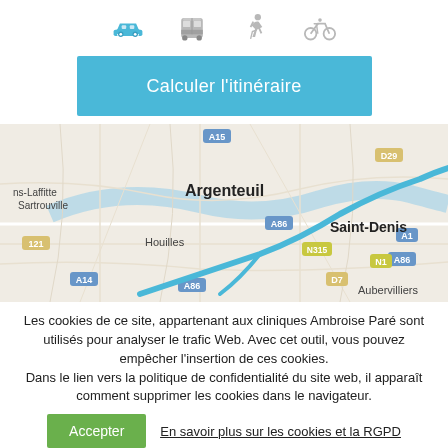[Figure (infographic): Four transport mode icons in a row: car (blue/active), bus (grey), walking person (grey), bicycle (grey)]
Calculer l'itinéraire
[Figure (map): Street map showing area around Argenteuil, Saint-Denis, Houilles, Sartrouville, Aubervilliers with blue route line along A86/N315]
Les cookies de ce site, appartenant aux cliniques Ambroise Paré sont utilisés pour analyser le trafic Web. Avec cet outil, vous pouvez empêcher l'insertion de ces cookies. Dans le lien vers la politique de confidentialité du site web, il apparaît comment supprimer les cookies dans le navigateur.
Accepter
En savoir plus sur les cookies et la RGPD